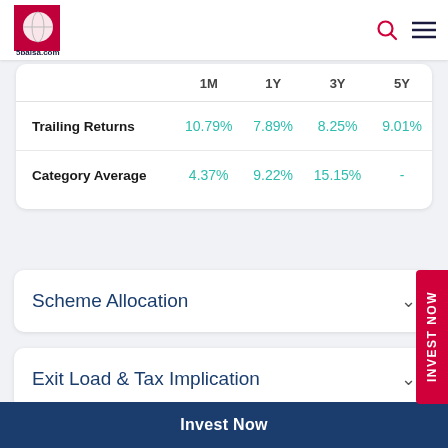5paisa.com
|  | 1M | 1Y | 3Y | 5Y |
| --- | --- | --- | --- | --- |
| Trailing Returns | 10.79% | 7.89% | 8.25% | 9.01% |
| Category Average | 4.37% | 9.22% | 15.15% | - |
Scheme Allocation
Exit Load & Tax Implication
Invest Now